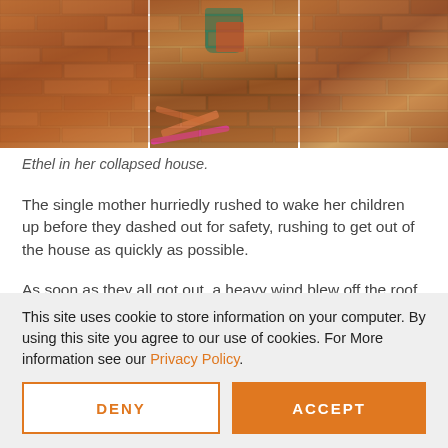[Figure (photo): Photo of Ethel standing in her collapsed brick house, surrounded by debris including a green bucket, scattered items, and pink bicycle parts against a brick wall backdrop.]
Ethel in her collapsed house.
The single mother hurriedly rushed to wake her children up before they dashed out for safety, rushing to get out of the house as quickly as possible.
As soon as they all got out, a heavy wind blew off the roof of the house.
This site uses cookie to store information on your computer. By using this site you agree to our use of cookies. For More information see our Privacy Policy.
DENY
ACCEPT